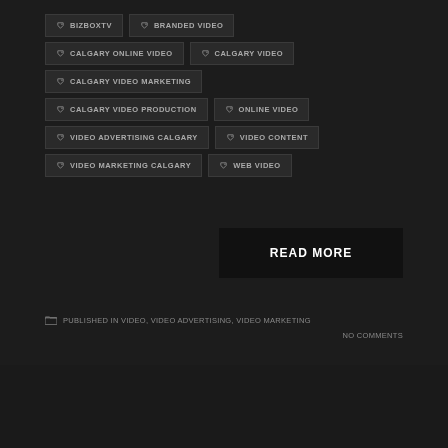BIZBOXTV
BRANDED VIDEO
CALGARY ONLINE VIDEO
CALGARY VIDEO
CALGARY VIDEO MARKETING
CALGARY VIDEO PRODUCTION
ONLINE VIDEO
VIDEO ADVERTISING CALGARY
VIDEO CONTENT
VIDEO MARKETING CALGARY
WEB VIDEO
READ MORE
PUBLISHED IN VIDEO, VIDEO ADVERTISING, VIDEO MARKETING
NO COMMENTS
TOP